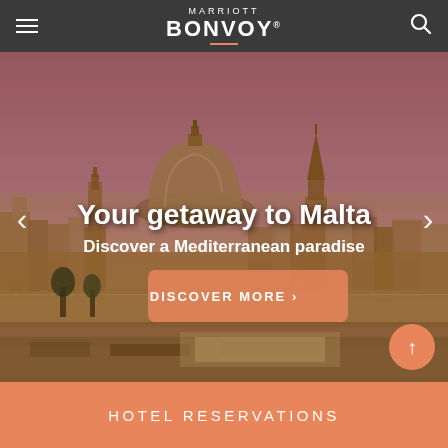MARRIOTT BONVOY
[Figure (photo): Hero image of Malta skyline at dusk/golden hour showing historic domed church and cathedral spire, medieval fortified buildings along waterfront, with pink and orange sky. Text overlay: 'Your getaway to Malta' and 'Discover a Mediterranean paradise' with a 'DISCOVER MORE >' button.]
HOTEL RESERVATIONS